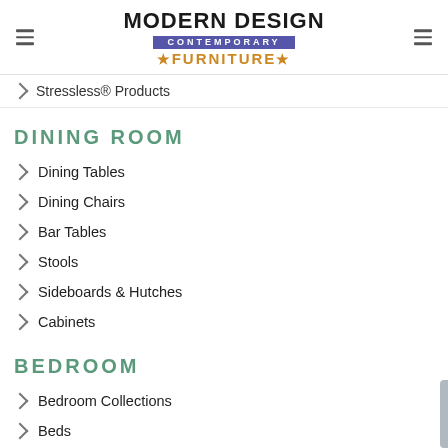MODERN DESIGN CONTEMPORARY FURNITURE
Stressless® Products
DINING ROOM
Dining Tables
Dining Chairs
Bar Tables
Stools
Sideboards & Hutches
Cabinets
BEDROOM
Bedroom Collections
Beds